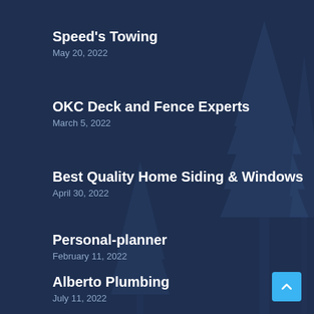Speed's Towing
May 20, 2022
OKC Deck and Fence Experts
March 5, 2022
Best Quality Home Siding & Windows
April 30, 2022
Personal-planner
February 11, 2022
Alberto Plumbing
July 11, 2022